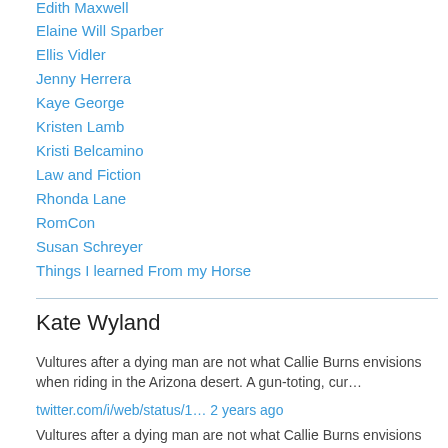Edith Maxwell
Elaine Will Sparber
Ellis Vidler
Jenny Herrera
Kaye George
Kristen Lamb
Kristi Belcamino
Law and Fiction
Rhonda Lane
RomCon
Susan Schreyer
Things I learned From my Horse
Kate Wyland
Vultures after a dying man are not what Callie Burns envisions when riding in the Arizona desert. A gun-toting, cur…
twitter.com/i/web/status/1… 2 years ago
Vultures after a dying man are not what Callie Burns envisions when